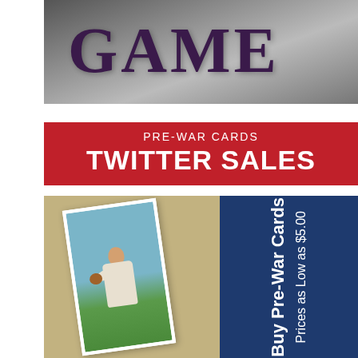[Figure (photo): Top banner with baseball player photo and large text reading GAME in dark purple serif font]
PRE-WAR CARDS
TWITTER SALES
[Figure (illustration): Promotional advertisement with a vintage pre-war baseball card showing a pitcher in a white uniform, on a tan/khaki background left side, and a dark navy blue right side with rotated white text reading 'Buy Pre-War Cards' and 'Prices as Low as $5.00']